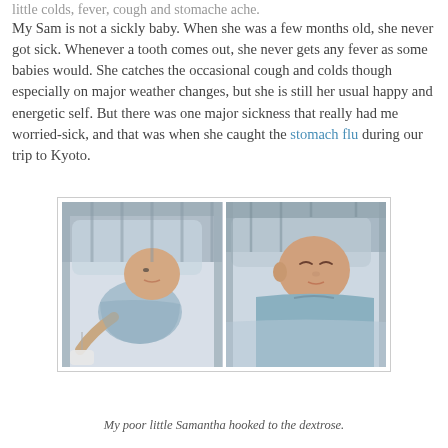little colds, fever, cough and stomache ache.
My Sam is not a sickly baby. When she was a few months old, she never got sick. Whenever a tooth comes out, she never gets any fever as some babies would. She catches the occasional cough and colds though especially on major weather changes, but she is still her usual happy and energetic self. But there was one major sickness that really had me worried-sick, and that was when she caught the stomach flu during our trip to Kyoto.
[Figure (photo): Two side-by-side photos of a baby girl (Samantha) lying in a hospital crib/bed, wearing a light blue outfit. In the left photo she has a dextrose/IV line attached to her hand. In the right photo she appears to be sleeping peacefully.]
My poor little Samantha hooked to the dextrose.